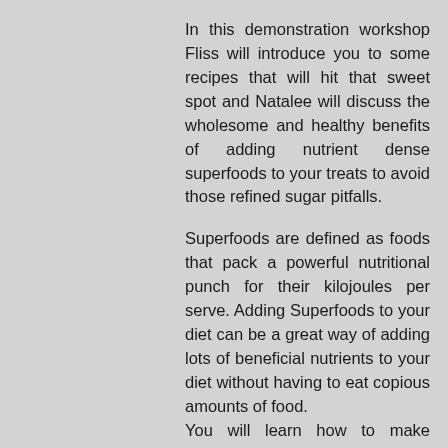In this demonstration workshop Fliss will introduce you to some recipes that will hit that sweet spot and Natalee will discuss the wholesome and healthy benefits of adding nutrient dense superfoods to your treats to avoid those refined sugar pitfalls.
Superfoods are defined as foods that pack a powerful nutritional punch for their kilojoules per serve. Adding Superfoods to your diet can be a great way of adding lots of beneficial nutrients to your diet without having to eat copious amounts of food. You will learn how to make delectable, plant based treats using foods that support your energy levels, gut health, mood, hormones and so much more.
After this workshop you truly can have your cake and eat it too.